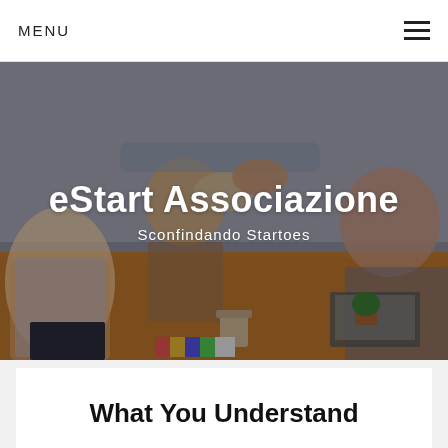MENU
[Figure (photo): Group of people around a table fist-bumping/high-fiving, business meeting scene with laptops, coffee cups, and notebooks on a wooden table]
eStart Associazione
Sconfindando Startoes
What You Understand